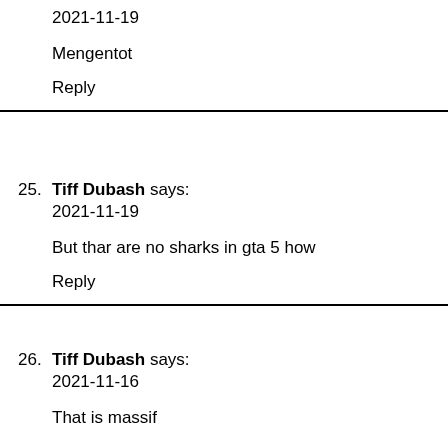2021-11-19
Mengentot
Reply
25. Tiff Dubash says:
2021-11-19

But thar are no sharks in gta 5 how

Reply
26. Tiff Dubash says:
2021-11-16

That is massif